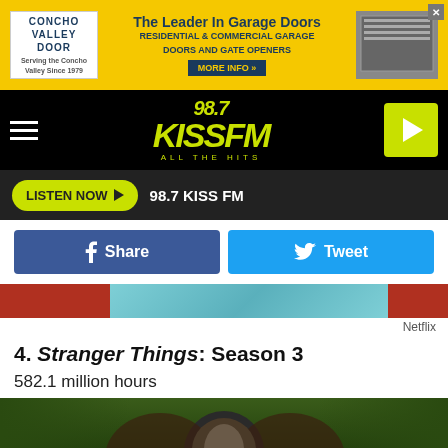[Figure (screenshot): Concho Valley Door advertisement banner - yellow background with logo and garage door image, 'The Leader In Garage Doors' text]
[Figure (logo): 98.7 KISS FM ALL THE HITS radio station logo in yellow-green on black background with hamburger menu and play button]
LISTEN NOW  98.7 KISS FM
[Figure (screenshot): Facebook Share and Twitter Tweet social sharing buttons]
[Figure (photo): Partial photo strip showing people in red near a pool]
Netflix
4. Stranger Things: Season 3
582.1 million hours
[Figure (photo): Photo of person surrounded by creature/monster props in outdoor wooded setting]
[Figure (screenshot): Window Depot advertisement banner - Your hometown brand, WAD logo]